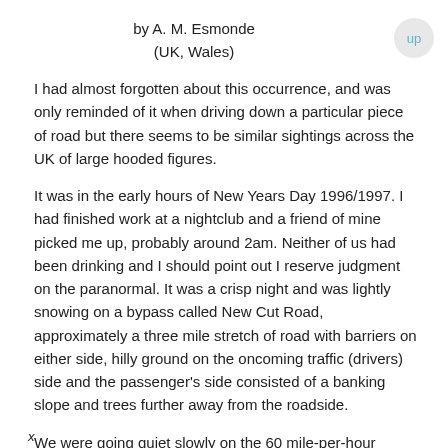by A. M. Esmonde
(UK, Wales)
I had almost forgotten about this occurrence, and was only reminded of it when driving down a particular piece of road but there seems to be similar sightings across the UK of large hooded figures.
It was in the early hours of New Years Day 1996/1997. I had finished work at a nightclub and a friend of mine picked me up, probably around 2am. Neither of us had been drinking and I should point out I reserve judgment on the paranormal. It was a crisp night and was lightly snowing on a bypass called New Cut Road, approximately a three mile stretch of road with barriers on either side, hilly ground on the oncoming traffic (drivers) side and the passenger's side consisted of a banking slope and trees further away from the roadside.
We were going quiet slowly on the 60 mile-per-hour stretch, possible 30-40 miles or less and were around the half-way point on the bypass and had just past a sign. There were no trees
x